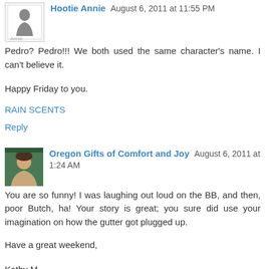Hootie Anne August 6, 2011 at 11:55 PM
Pedro? Pedro!!! We both used the same character's name. I can't believe it.
Happy Friday to you.
RAIN SCENTS
Reply
Oregon Gifts of Comfort and Joy August 6, 2011 at 1:24 AM
You are so funny! I was laughing out loud on the BB, and then, poor Butch, ha! Your story is great; you sure did use your imagination on how the gutter got plugged up.
Have a great weekend,
Kathy M.
Reply